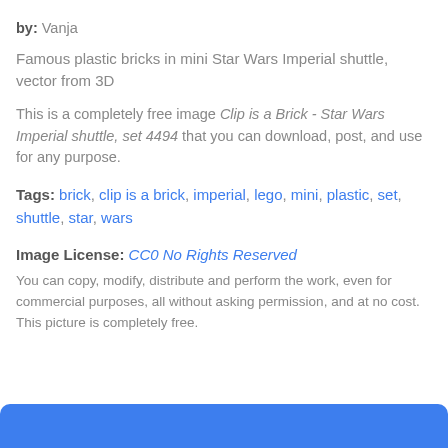by: Vanja
Famous plastic bricks in mini Star Wars Imperial shuttle, vector from 3D
This is a completely free image Clip is a Brick - Star Wars Imperial shuttle, set 4494 that you can download, post, and use for any purpose.
Tags: brick, clip is a brick, imperial, lego, mini, plastic, set, shuttle, star, wars
Image License: CC0 No Rights Reserved
You can copy, modify, distribute and perform the work, even for commercial purposes, all without asking permission, and at no cost. This picture is completely free.